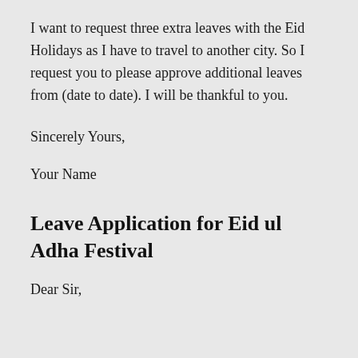I want to request three extra leaves with the Eid Holidays as I have to travel to another city. So I request you to please approve additional leaves from (date to date). I will be thankful to you.
Sincerely Yours,
Your Name
Leave Application for Eid ul Adha Festival
Dear Sir,